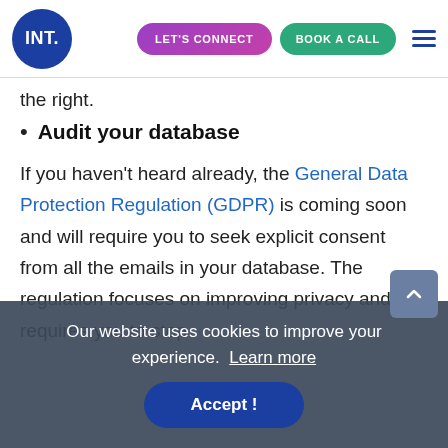INT. | LET'S CONNECT | BOOK A CALL
the right.
Audit your database
If you haven't heard already, the General Data Protection Regulation (GDPR) is coming soon and will require you to seek explicit consent from all the emails in your database. The regulation focuses on improving privacy and requires you to stop contacting people without their explicit consent. You need to audit your email database, removing emails that
Our website uses cookies to improve your experience. Learn more
Accept !